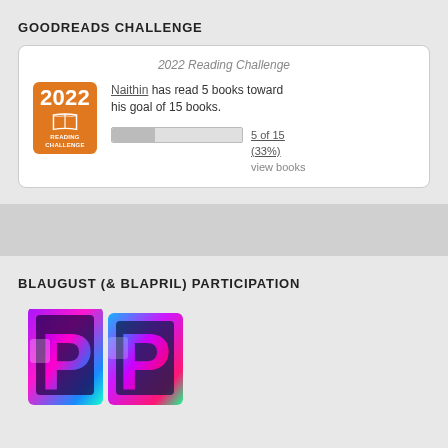GOODREADS CHALLENGE
[Figure (infographic): Goodreads 2022 Reading Challenge widget. Orange badge with '2022 READING CHALLENGE'. Text: Naithin has read 5 books toward his goal of 15 books. Progress bar showing 33% filled. '5 of 15 (33%)' and 'view books' link.]
BLAUGUST (& BLAPRIL) PARTICIPATION
[Figure (illustration): Two colorful rainbow/metallic 3D letter badge logos partially visible at bottom of page, representing Blaugust and Blapril participation badges.]